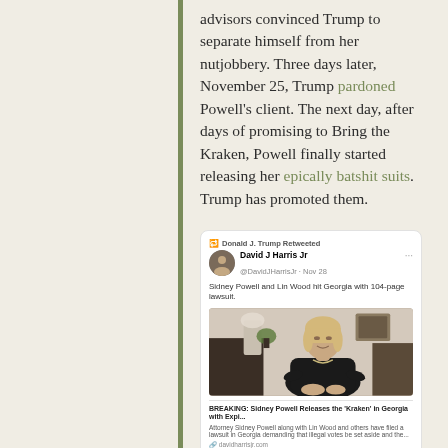advisors convinced Trump to separate himself from her nutjobbery. Three days later, November 25, Trump pardoned Powell's client. The next day, after days of promising to Bring the Kraken, Powell finally started releasing her epically batshit suits. Trump has promoted them.
[Figure (screenshot): A retweet by Donald J. Trump of a tweet by David J Harris Jr (@DavidJHarrisJr, Nov 28) stating 'Sidney Powell and Lin Wood hit Georgia with 104-page lawsuit.' The tweet includes a photo of a woman (Sidney Powell) seated, wearing a black top, and a link preview card showing 'BREAKING: Sidney Powell Releases the Kraken in Georgia with Expi...' with description 'Attorney Sidney Powell along with Lin Wood and others have filed a lawsuit in Georgia demanding that illegal votes be set aside and the...' from davidharrisjr.com]